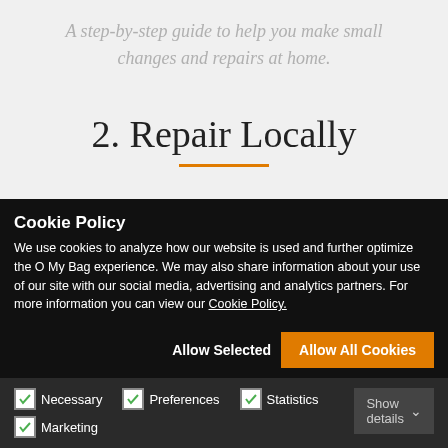A step-by-step guide to help you make small changes and repairs at home.
2. Repair Locally
Take your bag to your local repair shop. Log your
Cookie Policy
We use cookies to analyze how our website is used and further optimize the O My Bag experience. We may also share information about your use of our site with our social media, advertising and analytics partners. For more information you can view our Cookie Policy.
Allow Selected
Allow All Cookies
Necessary   Preferences   Statistics   Marketing   Show details